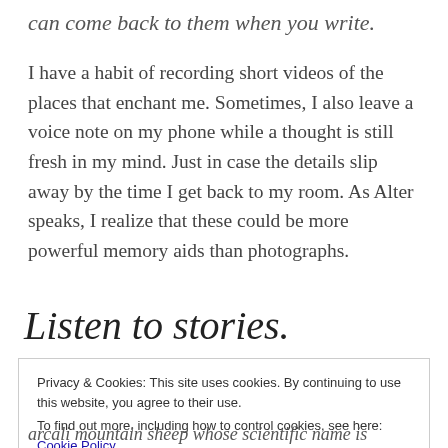can come back to them when you write.
I have a habit of recording short videos of the places that enchant me. Sometimes, I also leave a voice note on my phone while a thought is still fresh in my mind. Just in case the details slip away by the time I get back to my room. As Alter speaks, I realize that these could be more powerful memory aids than photographs.
Listen to stories.
Privacy & Cookies: This site uses cookies. By continuing to use this website, you agree to their use.
To find out more, including how to control cookies, see here: Cookie Policy
arcali mountain sheep whose scientific name is